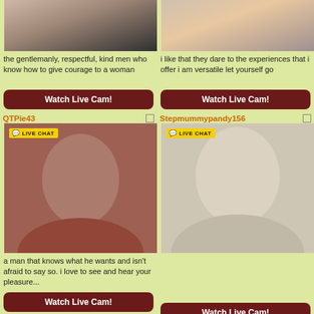the gentlemanly, respectful, kind men who know how to give courage to a woman
Watch Live Cam!
i like that they dare to the experiences that i offer i am versatile let yourself go
Watch Live Cam!
QTPie43
[Figure (photo): Live cam thumbnail of QTPie43 with LIVE CHAT badge]
a man that knows what he wants and isn't afraid to say so. i love to see and hear your pleasure...
Watch Live Cam!
Stepmummypandy156
[Figure (photo): Live cam thumbnail of Stepmummypandy156 with LIVE CHAT badge]
Watch Live Cam!
Samantte_Jones
StefanieSKY